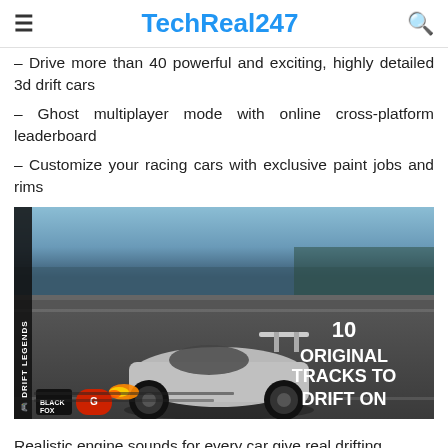TechReal247
– Drive more than 40 powerful and exciting, highly detailed 3d drift cars
– Ghost multiplayer mode with online cross-platform leaderboard
– Customize your racing cars with exclusive paint jobs and rims
[Figure (photo): Drift Legends game screenshot showing a silver sports car drifting on a racing track with flames, text overlay reading '10 ORIGINAL TRACKS TO DRIFT ON', Black Fox and another studio logo visible]
Realistic engine sounds for every car give real drifting